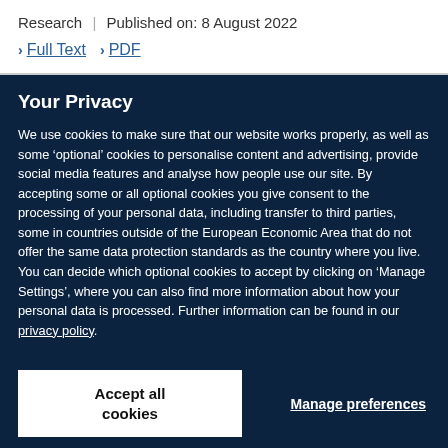Research | Published on: 8 August 2022
> Full Text  > PDF
Your Privacy
We use cookies to make sure that our website works properly, as well as some ‘optional’ cookies to personalise content and advertising, provide social media features and analyse how people use our site. By accepting some or all optional cookies you give consent to the processing of your personal data, including transfer to third parties, some in countries outside of the European Economic Area that do not offer the same data protection standards as the country where you live. You can decide which optional cookies to accept by clicking on ‘Manage Settings’, where you can also find more information about how your personal data is processed. Further information can be found in our privacy policy.
Accept all cookies
Manage preferences